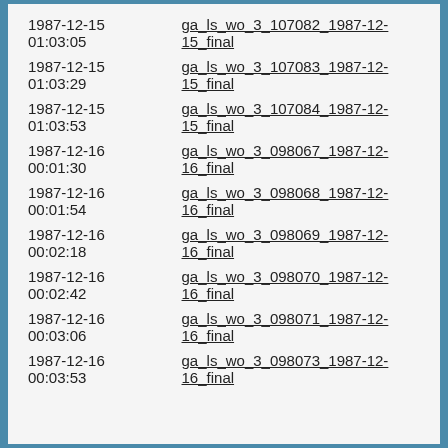| 1987-12-15
01:03:05 | ga_ls_wo_3_107082_1987-12-15_final |
| 1987-12-15
01:03:29 | ga_ls_wo_3_107083_1987-12-15_final |
| 1987-12-15
01:03:53 | ga_ls_wo_3_107084_1987-12-15_final |
| 1987-12-16
00:01:30 | ga_ls_wo_3_098067_1987-12-16_final |
| 1987-12-16
00:01:54 | ga_ls_wo_3_098068_1987-12-16_final |
| 1987-12-16
00:02:18 | ga_ls_wo_3_098069_1987-12-16_final |
| 1987-12-16
00:02:42 | ga_ls_wo_3_098070_1987-12-16_final |
| 1987-12-16
00:03:06 | ga_ls_wo_3_098071_1987-12-16_final |
| 1987-12-16
00:03:53 | ga_ls_wo_3_098073_1987-12-16_final |